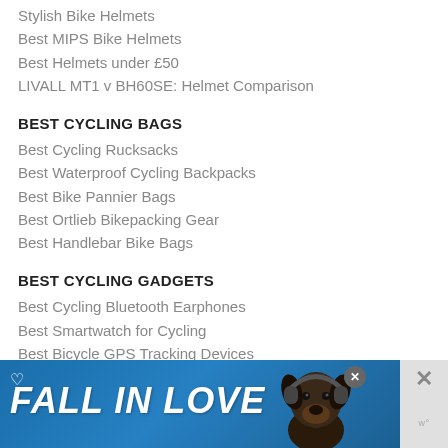Stylish Bike Helmets
Best MIPS Bike Helmets
Best Helmets under £50
LIVALL MT1 v BH60SE: Helmet Comparison
BEST CYCLING BAGS
Best Cycling Rucksacks
Best Waterproof Cycling Backpacks
Best Bike Pannier Bags
Best Ortlieb Bikepacking Gear
Best Handlebar Bike Bags
BEST CYCLING GADGETS
Best Cycling Bluetooth Earphones
Best Smartwatch for Cycling
Best Bicycle GPS Tracking Devices
[Figure (other): Advertisement banner reading FALL IN LOVE with a dog image wearing headphones]